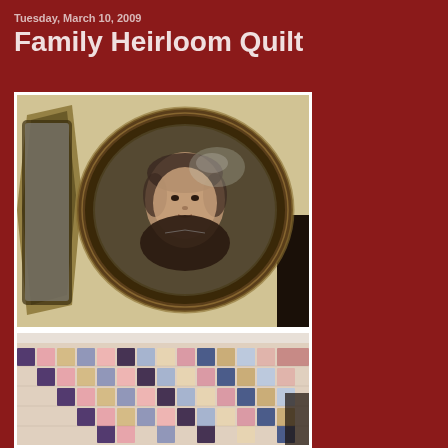Tuesday, March 10, 2009
Family Heirloom Quilt
[Figure (photo): An antique oval framed portrait photograph of an elderly woman, hanging on a cream/tan wall. A gold ornate mirror is partially visible to the left. A dark furniture piece is seen on the right edge.]
[Figure (photo): Close-up photograph of a colorful patchwork quilt with a tumbling blocks or nine-patch pattern, showing pink, blue, purple, tan, and multicolored fabric squares arranged in a diagonal pattern, draped over what appears to be a bed.]